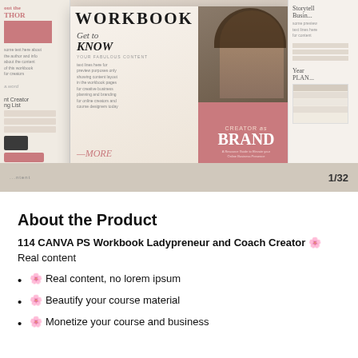[Figure (photo): A product collage image showing multiple Canva workbook template pages. Central spread shows a 'Get to Know' page and 'CREATOR as BRAND' pink panel. Title 'WORKBOOK' in large text at top. Side panels show various planner/workbook templates. Bottom right shows '1/32' page counter.]
About the Product
114 CANVA PS Workbook Ladypreneur and Coach Creator 🌸
Real content
🌸 Real content, no lorem ipsum
🌸 Beautify your course material
🌸 Monetize your course and business